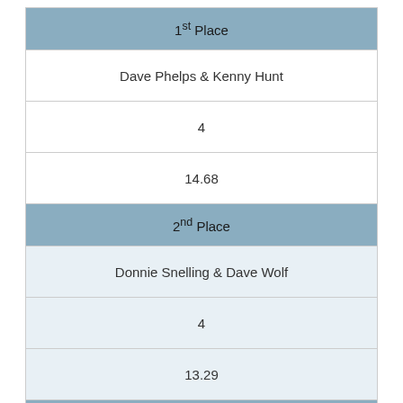| 1st Place |
| Dave Phelps & Kenny Hunt |
| 4 |
| 14.68 |
| 2nd Place |
| Donnie Snelling & Dave Wolf |
| 4 |
| 13.29 |
| 3rd Place |
| Rick Fishback & Terry Blankenship |
| 4 |